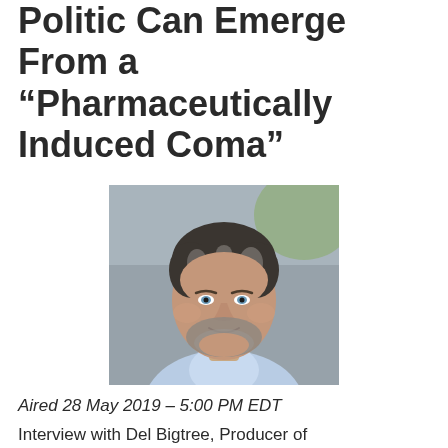How the Body Politic Can Emerge From a “Pharmaceutically Induced Coma”
[Figure (photo): Headshot of a middle-aged man with grey-streaked dark hair, beard, and blue eyes wearing a light blue shirt, photographed against a blurred outdoor background.]
Aired 28 May 2019 – 5:00 PM EDT
Interview with Del Bigtree, Producer of “Vaxxed”